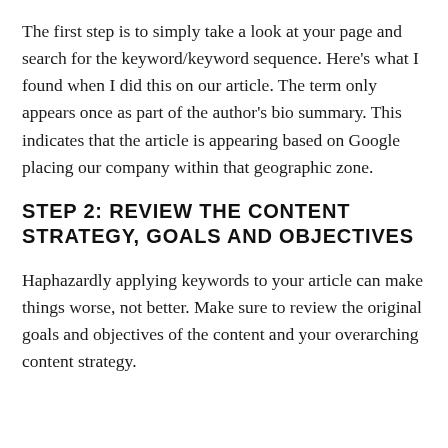The first step is to simply take a look at your page and search for the keyword/keyword sequence. Here's what I found when I did this on our article. The term only appears once as part of the author's bio summary. This indicates that the article is appearing based on Google placing our company within that geographic zone.
STEP 2: REVIEW THE CONTENT STRATEGY, GOALS AND OBJECTIVES
Haphazardly applying keywords to your article can make things worse, not better. Make sure to review the original goals and objectives of the content and your overarching content strategy.